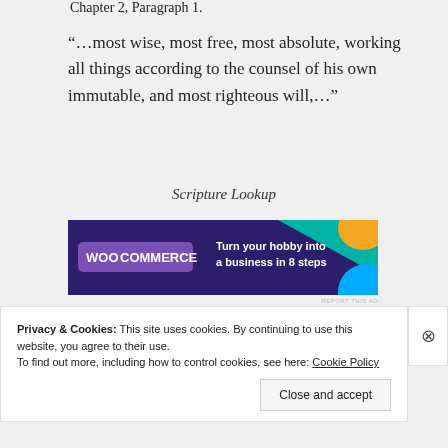Chapter 2, Paragraph 1.
“…most wise, most free, most absolute, working all things according to the counsel of his own immutable, and most righteous will,…”
Scripture Lookup
[Figure (screenshot): WooCommerce advertisement banner: 'Turn your hobby into a business in 8 steps' on dark purple background with colorful geometric shapes]
REPORT THIS AD
Psalm 115:3
Privacy & Cookies: This site uses cookies. By continuing to use this website, you agree to their use.
To find out more, including how to control cookies, see here: Cookie Policy
Close and accept